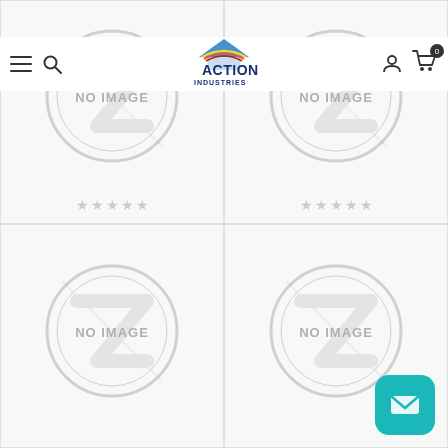[Figure (screenshot): Action Industries e-commerce website header with hamburger menu, search icon, Action Industries logo (house roof icon with rainbow stripe, text 'ACTION INDUSTRIES EVERY PART FOR EVERY DOOR'), user icon, and shopping cart icon with badge showing 0]
[Figure (photo): Product card top-left: No image placeholder with circular watermark logo and 'NO IMAGE' text, with 5 empty star rating below]
[Figure (photo): Product card top-right: No image placeholder with circular watermark logo and 'NO IMAGE' text, with 5 empty star rating below]
[Figure (photo): Product card bottom-left: No image placeholder with circular watermark logo and 'NO IMAGE' text]
[Figure (photo): Product card bottom-right: No image placeholder with circular watermark logo and 'NO IMAGE' text, with email/chat button overlay in teal/cyan color]